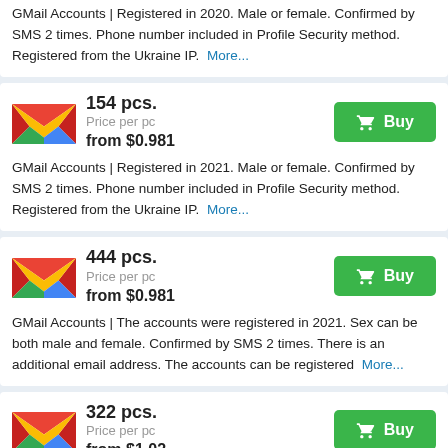GMail Accounts | Registered in 2020. Male or female. Confirmed by SMS 2 times. Phone number included in Profile Security method. Registered from the Ukraine IP. More...
154 pcs. Price per pc from $0.981
GMail Accounts | Registered in 2021. Male or female. Confirmed by SMS 2 times. Phone number included in Profile Security method. Registered from the Ukraine IP. More...
444 pcs. Price per pc from $0.981
GMail Accounts | The accounts were registered in 2021. Sex can be both male and female. Confirmed by SMS 2 times. There is an additional email address. The accounts can be registered More...
322 pcs. Price per pc from $1.02
GMail Accounts | Registered in 2019. Male or female. Confirmed by SMS 2 times. Phone number included in Profile Security method. Registered from the Ukraine IP. More...